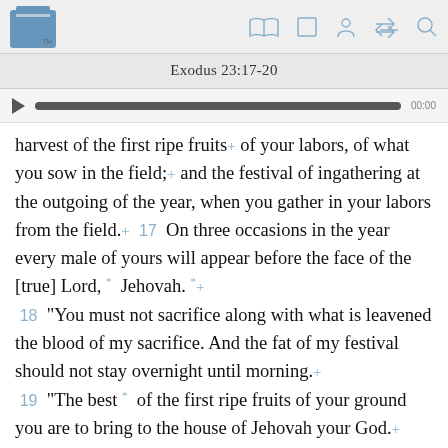Exodus 23:17-20
harvest of the first ripe fruits+ of your labors, of what you sow in the field;+ and the festival of ingathering at the outgoing of the year, when you gather in your labors from the field.+ 17 On three occasions in the year every male of yours will appear before the face of the [true] Lord, * Jehovah. * + 18 "You must not sacrifice along with what is leavened the blood of my sacrifice. And the fat of my festival should not stay overnight until morning.+ 19 "The best * of the first ripe fruits of your ground you are to bring to the house of Jehovah your God.+ "You must not boil a kid in its mother's milk.+ 20 "Here I am sending an angel+ ahead of you to